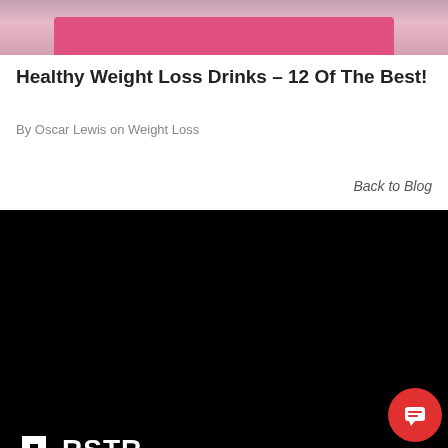[Figure (photo): Top portion of a yoga mat on a floor, pink/rose colored, cropped at the top of the frame]
Healthy Weight Loss Drinks – 12 Of The Best!
By Oscar Lewis on Weight Loss
Back to Blog
[Figure (logo): RSTR logo with white text and icon on black background]
RSTR
Classes
Sessions
Pricing
FAQ
Contact
Login
Book your FREE Classes!
Copyright © 2019 - RSTR - All right...